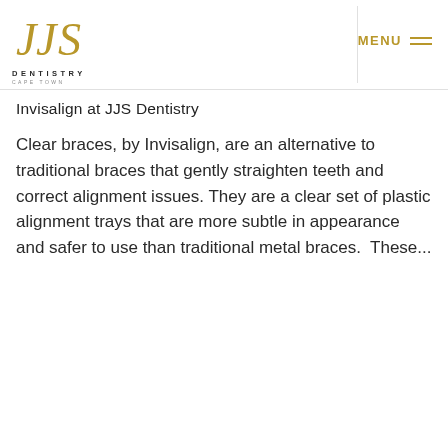[Figure (logo): JJS Dentistry Cape Town logo with gold stylized JJS letters and text DENTISTRY CAPE TOWN]
MENU
Invisalign at JJS Dentistry
Clear braces, by Invisalign, are an alternative to traditional braces that gently straighten teeth and correct alignment issues. They are a clear set of plastic alignment trays that are more subtle in appearance and safer to use than traditional metal braces.  These...